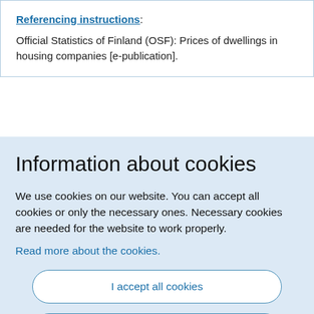Referencing instructions: Official Statistics of Finland (OSF): Prices of dwellings in housing companies [e-publication].
Information about cookies
We use cookies on our website. You can accept all cookies or only the necessary ones. Necessary cookies are needed for the website to work properly.
Read more about the cookies.
I accept all cookies
I only accept necessary cookies